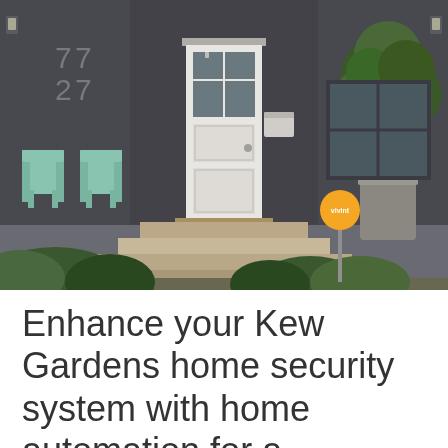[Figure (photo): Exterior photo of a modern dark gray house with white front door showing house number 7727, mint green chairs on the porch, stone steps leading up, green bushes and a potted tree, and a Vivint security yard sign in orange circle on the right side.]
Enhance your Kew Gardens home security system with home automation for a